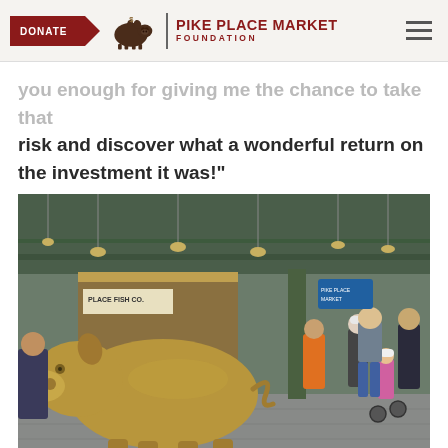DONATE | PIKE PLACE MARKET FOUNDATION
you enough for giving me the chance to take that risk and discover what a wonderful return on the investment it was!"
[Figure (photo): Interior of Pike Place Market showing the famous bronze pig sculpture (Rachel) in the foreground, with shoppers and the Pike Place Fish Co. stall visible in the background. Green steel ceiling with hanging lights.]